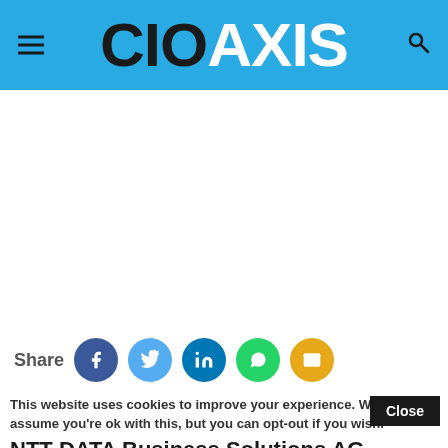CIOAXIS
[Figure (other): White blank content area (advertisement or image placeholder)]
Share
This website uses cookies to improve your experience. We'll assume you're ok with this, but you can opt-out if you wish.
NTT DATA Business Solutions AG acquires
Read More